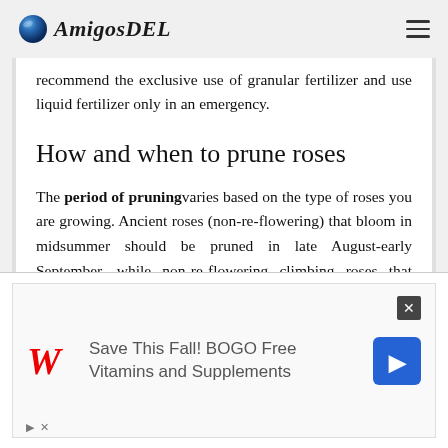AmigosDEL
recommend the exclusive use of granular fertilizer and use liquid fertilizer only in an emergency.
How and when to prune roses
The period of pruning varies based on the type of roses you are growing. Ancient roses (non-re-flowering) that bloom in midsummer should be pruned in late August-early September, while non-re-flowering climbing roses that bloom in late
[Figure (other): Walgreens advertisement: Save This Fall! BOGO Free Vitamins and Supplements]